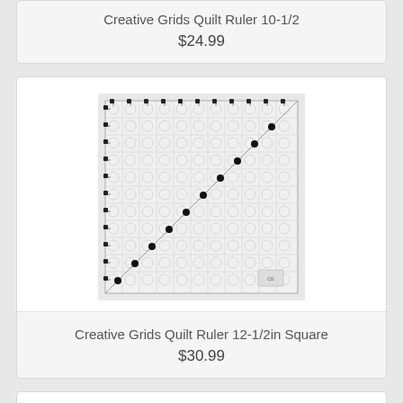Creative Grids Quilt Ruler 10-1/2
$24.99
[Figure (photo): A square transparent quilting ruler (Creative Grids 12-1/2in Square) with a grid pattern, measurement markings on all edges, circular grip marks throughout, and a diagonal line from corner to corner with black dot markers along it.]
Creative Grids Quilt Ruler 12-1/2in Square
$30.99